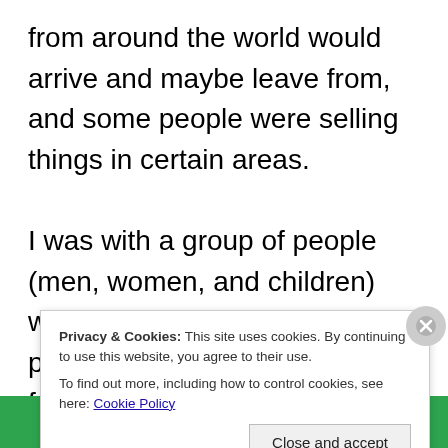from around the world would arrive and maybe leave from, and some people were selling things in certain areas.

I was with a group of people (men, women, and children) with white skin who were possibly family members of my former male classmate JC, they were possibly on their way to a wedding or something like that but I am n... t... h...
Privacy & Cookies: This site uses cookies. By continuing to use this website, you agree to their use.
To find out more, including how to control cookies, see here: Cookie Policy
Close and accept
[Figure (other): Green Jetpack promotional bar at the bottom with Jetpack logo on left and 'Back up your site' text on right]